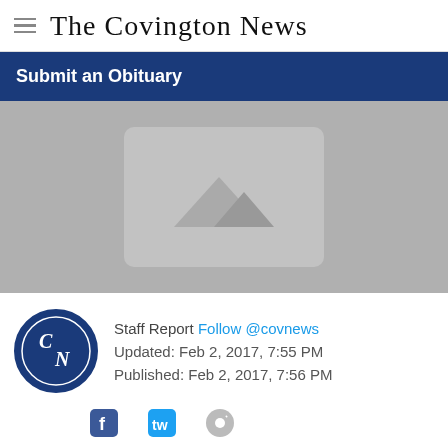The Covington News
Submit an Obituary
[Figure (photo): Placeholder image with mountain icon on grey background]
Staff Report Follow @covnews
Updated: Feb 2, 2017, 7:55 PM
Published: Feb 2, 2017, 7:56 PM